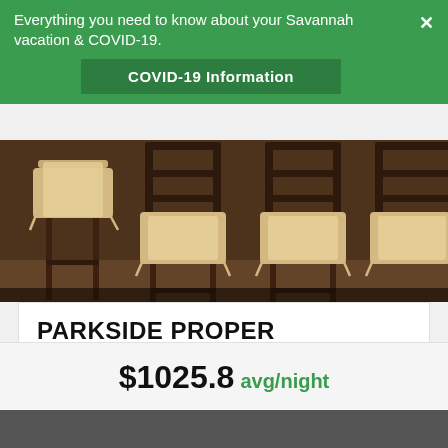Everything you need to know about your Savannah vacation & COVID-19.
COVID-19 Information
[Figure (photo): Bar stools with cushioned seats in a restaurant/kitchen setting]
PARKSIDE PROPER
Apartment | 3 Bedrooms | 2.5 Bathrooms | Sleeps 6
Enjoy a luxurious retreat in one of the best neighborhoods in the city's Landmark Historic District! Walk to all your favorite restaurants and shops and return home to a peaceful enclave of beautiful Savannah.
Deck/Balcony
$1025.8 avg/night